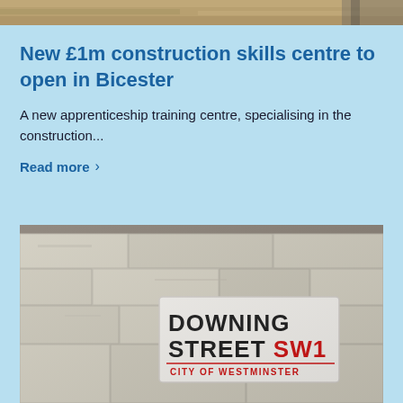[Figure (photo): Top partial image of a construction site with warm brown/tan tones]
New £1m construction skills centre to open in Bicester
A new apprenticeship training centre, specialising in the construction...
Read more >
[Figure (photo): Photo of a Downing Street SW1 street sign mounted on a stone wall, with 'City of Westminster' text below in red]